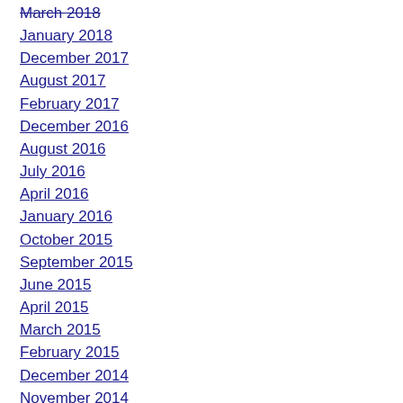March 2018
January 2018
December 2017
August 2017
February 2017
December 2016
August 2016
July 2016
April 2016
January 2016
October 2015
September 2015
June 2015
April 2015
March 2015
February 2015
December 2014
November 2014
September 2014
July 2014
May 2014